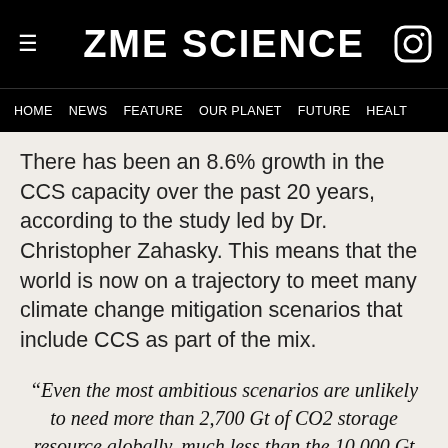ZME SCIENCE
HOME  NEWS  FEATURE  OUR PLANET  FUTURE  HEALT
There has been an 8.6% growth in the CCS capacity over the past 20 years, according to the study led by Dr. Christopher Zahasky. This means that the world is now on a trajectory to meet many climate change mitigation scenarios that include CCS as part of the mix.
“Even the most ambitious scenarios are unlikely to need more than 2,700 Gt of CO2 storage resource globally, much less than the 10,000 Gt of storage resource that leading reports suggested. If climate change targets